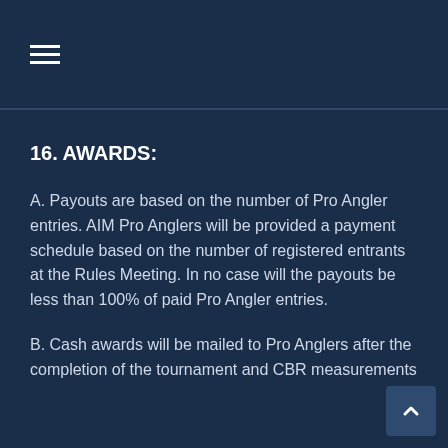☰
16. AWARDS:
A. Payouts are based on the number of Pro Angler entries. AIM Pro Anglers will be provided a payment schedule based on the number of registered entrants at the Rules Meeting. In no case will the payouts be less than 100% of paid Pro Angler entries.
B. Cash awards will be mailed to Pro Anglers after the completion of the tournament and CBR measurements